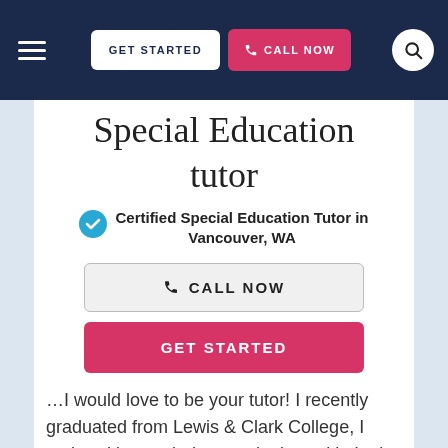GET STARTED  CALL NOW
Special Education tutor
Certified Special Education Tutor in Vancouver, WA
CALL NOW
GET STARTED
…I would love to be your tutor! I recently graduated from Lewis & Clark College, I majored in psychology and minored in Latin American Studies. I have completed